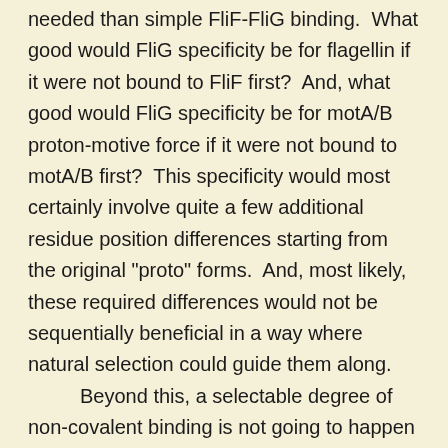needed than simple FliF-FliG binding.  What good would FliG specificity be for flagellin if it were not bound to FliF first?  And, what good would FliG specificity be for motA/B proton-motive force if it were not bound to motA/B first?  This specificity would most certainly involve quite a few additional residue position differences starting from the original "proto" forms.  And, most likely, these required differences would not be sequentially beneficial in a way where natural selection could guide them along.
	Beyond this, a selectable degree of non-covalent binding is not going to happen between FliG and FliF with just one or two correct residue positions in place out of the 46 fairly specific residue positions used to link up FliG with FliF in modern flagella.  To overcome the buffeting effects of